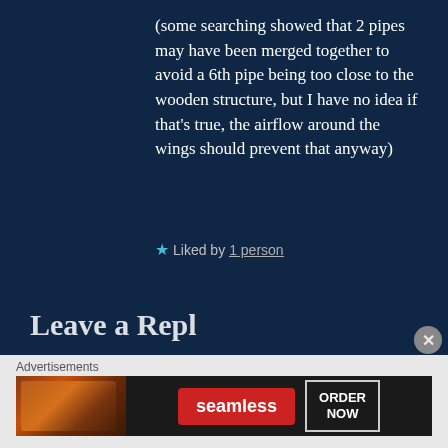(some searching showed that 2 pipes may have been merged together to avoid a 6th pipe being too close to the wooden structure, but I have no idea if that's true, the airflow around the wings should prevent that anyway)
★ Liked by 1 person
Leave a Reply
[Figure (other): Seamless food delivery advertisement banner with pizza image on the left, Seamless logo in red, and ORDER NOW button]